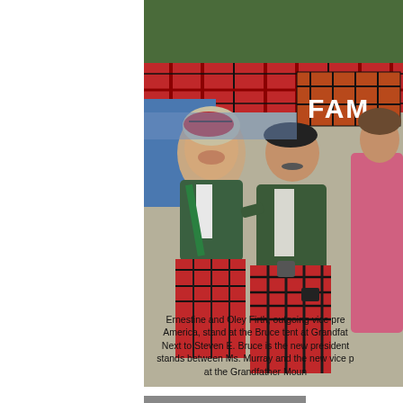[Figure (photo): Photograph of four people standing at the Bruce tent at Grandfather Mountain. A woman on the left wears a green jacket, white blouse, and red tartan skirt with a tartan beret. A man in the center-right wears a green jacket, white shirt, and red tartan kilt with a dark beret. A third person in a pink top is partially visible on the far right. A red tartan canopy and a sign reading 'FAM' are visible in the background.]
Ernestine and Oley Firth, outgoing vice pre America, stand at the Bruce tent at Grandfat Next to Steven E. Bruce is the new president stands between Ms. Murray and the new vice p at the Grandfather Moun